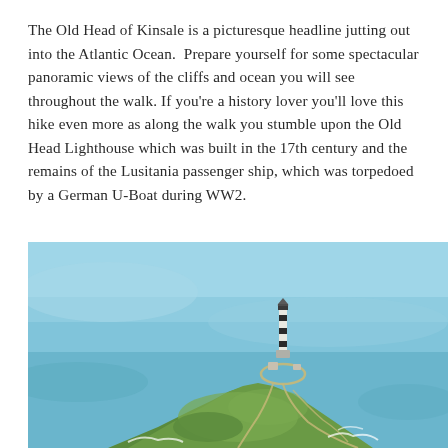The Old Head of Kinsale is a picturesque headline jutting out into the Atlantic Ocean.  Prepare yourself for some spectacular panoramic views of the cliffs and ocean you will see throughout the walk. If you're a history lover you'll love this hike even more as along the walk you stumble upon the Old Head Lighthouse which was built in the 17th century and the remains of the Lusitania passenger ship, which was torpedoed by a German U-Boat during WW2.
[Figure (photo): Aerial photograph of Old Head of Kinsale lighthouse on a narrow rocky headland jutting into the Atlantic Ocean. The black and white striped lighthouse stands at the tip of the green headland. Winding paths are visible on the grass. The surrounding sea is a light teal/blue color.]